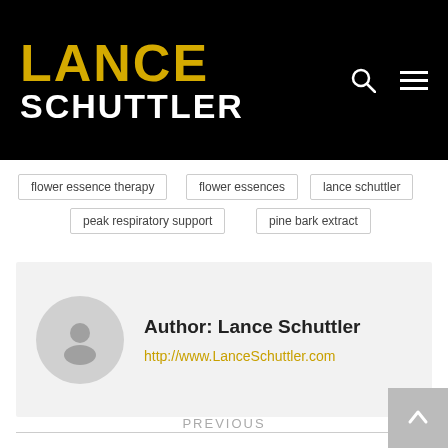LANCE SCHUTTLER
flower essence therapy
flower essences
lance schuttler
peak respiratory support
pine bark extract
Author: Lance Schuttler
http://www.LanceSchuttler.com
PREVIOUS